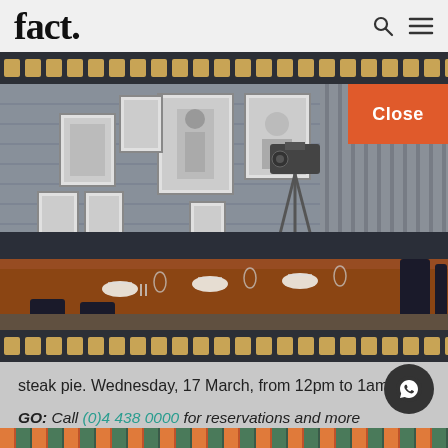fact.
[Figure (photo): Interior of a restaurant with a long wooden dining table set with place settings, black chairs, film-themed black and white photos on the wall, and a vintage movie camera on a tripod. Film strip borders at top and bottom of image. Orange 'Close' button overlaid in top-right.]
steak pie. Wednesday, 17 March, from 12pm to 1am.
GO: Call (0)4 438 0000 for reservations and more information.